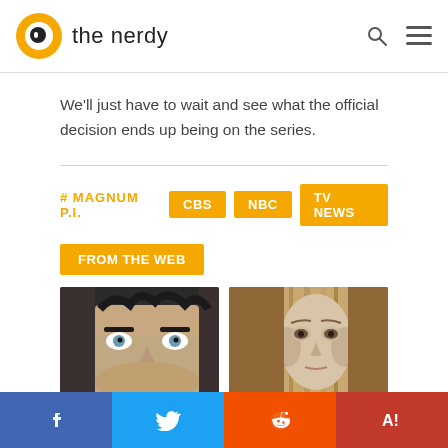the nerdy
We'll just have to wait and see what the official decision ends up being on the series.
# MAGNUM P.I.  CBS  NBC  TV NEWS
FROM THE WEB
[Figure (photo): Two side-by-side face photos of people]
Facebook  Twitter  Reddit  Yahoo!